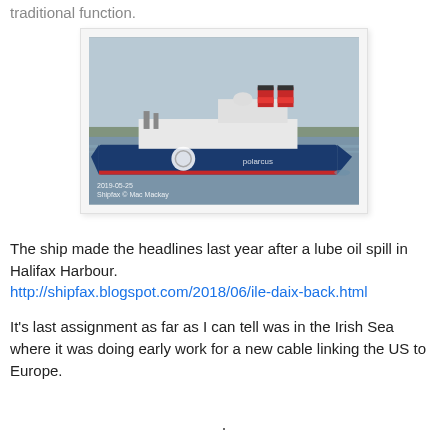traditional function.
[Figure (photo): A large blue research or cable-laying ship photographed from the side in a harbour or bay, with trees and industrial structures visible in the background. The ship has red and white funnels and a white superstructure. A watermark reads: 2019-05-25 / Shipfax © Mac Mackay]
The ship made the headlines last year after a lube oil spill in Halifax Harbour.
http://shipfax.blogspot.com/2018/06/ile-daix-back.html
It's last assignment as far as I can tell was in the Irish Sea where it was doing early work for a new cable linking the US to Europe.